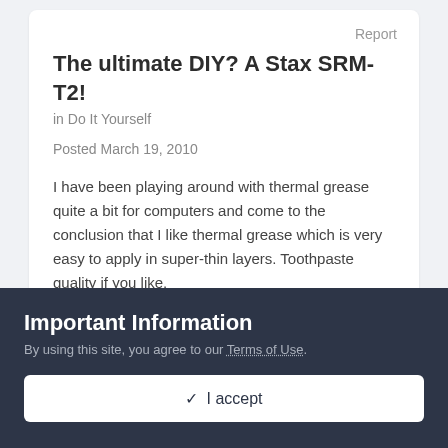Report
The ultimate DIY? A Stax SRM-T2!
in Do It Yourself
Posted March 19, 2010
I have been playing around with thermal grease quite a bit for computers and come to the conclusion that I like thermal grease which is very easy to apply in super-thin layers. Toothpaste quality if you like.
Important Information
By using this site, you agree to our Terms of Use.
✓  I accept